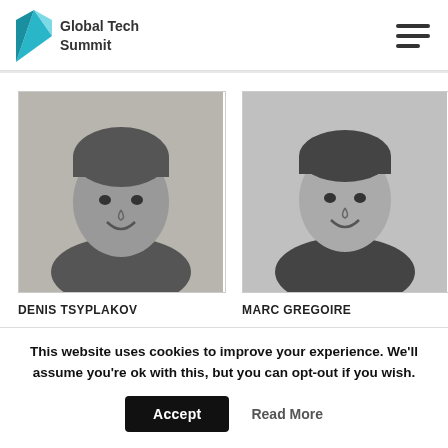Global Tech Summit
[Figure (photo): Headshot of Denis Tsyplakov, grayscale, man smiling in front of brick wall]
DENIS TSYPLAKOV
[Figure (photo): Headshot of Marc Gregoire, grayscale, young man smiling against gray background]
MARC GREGOIRE
This website uses cookies to improve your experience. We'll assume you're ok with this, but you can opt-out if you wish.
Accept
Read More